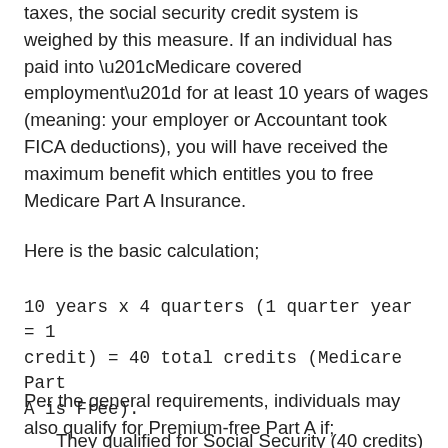taxes, the social security credit system is weighed by this measure. If an individual has paid into “Medicare covered employment” for at least 10 years of wages (meaning: your employer or Accountant took FICA deductions), you will have received the maximum benefit which entitles you to free Medicare Part A Insurance.
Here is the basic calculation;
10 years x 4 quarters (1 quarter year = 1 credit) = 40 total credits (Medicare Part A is Free).
Per the general requirements, individuals may also qualify for Premium-free Part A if;
They qualified for Social Security (40 credits) or the